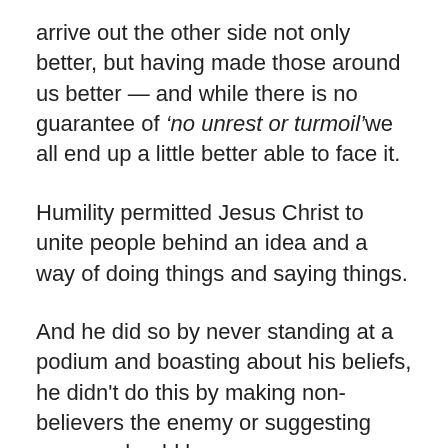arrive out the other side not only better, but having made those around us better — and while there is no guarantee of 'no unrest or turmoil' we all end up a little better able to face it.
Humility permitted Jesus Christ to unite people behind an idea and a way of doing things and saying things.
And he did so by never standing at a podium and boasting about his beliefs, he didn't do this by making non-believers the enemy or suggesting anyone should be